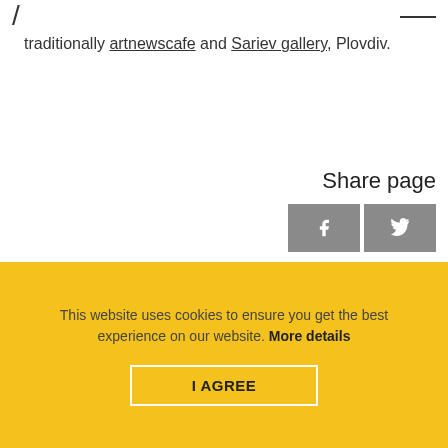traditionally artnewscafe and Sariev gallery, Plovdiv.
Share page
Privacy policy
FAQ
This website uses cookies to ensure you get the best experience on our website. More details
I AGREE